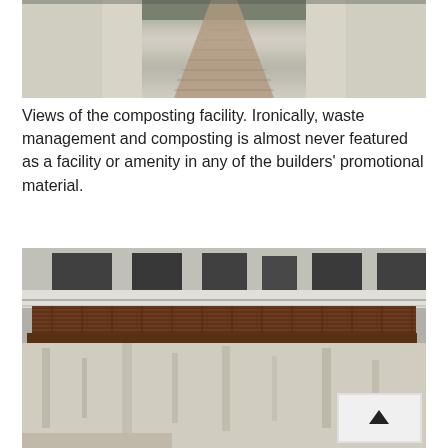[Figure (photo): View of a narrow brick-paved corridor or pathway between two weathered concrete/plastered walls of a composting facility, shot from above looking down the alley.]
Views of the composting facility. Ironically, waste management and composting is almost never featured as a facility or amenity in any of the builders' promotional material.
[Figure (photo): Close-up view of a composting bin or enclosure made of weathered concrete walls with a brown metal grated lid/cover on top, with a building visible in the background. A navigation arrow button is visible in the bottom-right corner.]